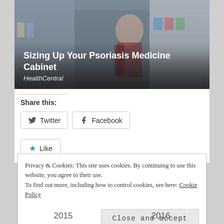[Figure (photo): Woman crouching in pharmacy/store aisle reading product label, shelves of products visible in background. Title overlay reads 'Sizing Up Your Psoriasis Medicine Cabinet' with source 'HealthCentral']
Sizing Up Your Psoriasis Medicine Cabinet
HealthCentral
Share this:
Twitter   Facebook
Like
Privacy & Cookies: This site uses cookies. By continuing to use this website, you agree to their use.
To find out more, including how to control cookies, see here: Cookie Policy
Close and accept
2015   2016